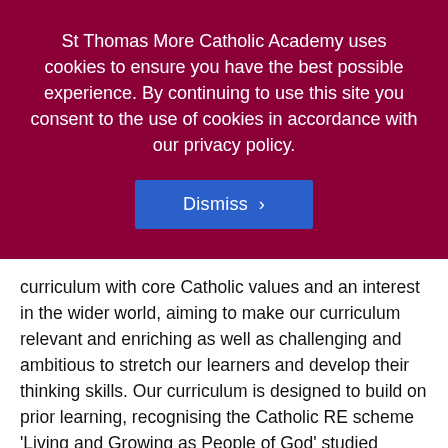St Thomas More Catholic Academy uses cookies to ensure you have the best possible experience. By continuing to use this site you consent to the use of cookies in accordance with our privacy policy.
Dismiss ›
curriculum with core Catholic values and an interest in the wider world, aiming to make our curriculum relevant and enriching as well as challenging and ambitious to stretch our learners and develop their thinking skills. Our curriculum is designed to build on prior learning, recognising the Catholic RE scheme 'Living and Growing as People of God' studied across our MAC in KS1-2 and feeding into the secondary Catholic RE scheme 'People of God'. Through this, we create a bespoke curriculum where every child is known and loved, through the exploration of knowing and loving God and our neighbour. We provide a wide range of opportunities with a focus on building on students oracy skills through philosophical, ethical and critical thinking, which builds resilience and confidence,